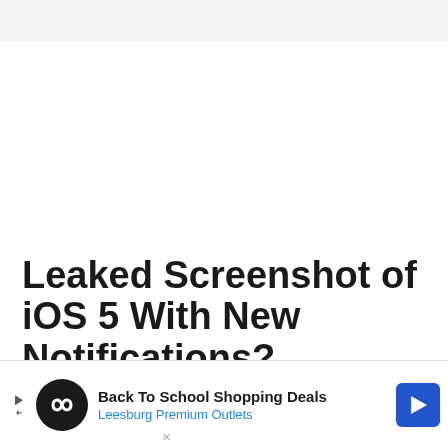Leaked Screenshot of iOS 5 With New Notifications?
Alex H
[Figure (infographic): Advertisement banner: Back To School Shopping Deals - Leesburg Premium Outlets, with logo circle containing infinity symbol and blue navigation arrow button.]